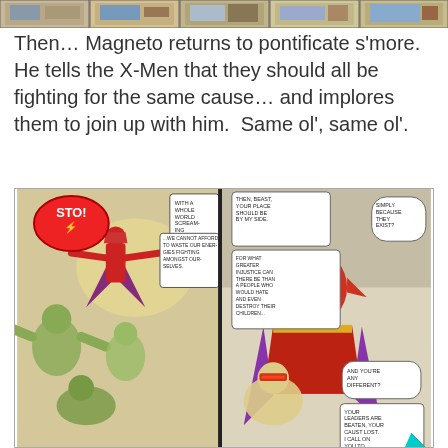[Figure (illustration): Top strip of comic book panels showing various Marvel comic scenes in a horizontal strip]
Then… Magneto returns to pontificate s'more.  He tells the X-Men that they should all be fighting for the same cause… and implores them to join up with him.  Same ol', same ol'.
[Figure (illustration): Two comic book panels. Left panel shows Magneto flying with cape outstretched speaking 'STOP! With a whole world screaming for mutant blood... We cannot afford to waste our energies fighting amongst ourselves.' Right panel shows Magneto in close up saying 'Then, Beast, your place should be by my side. For what greater injustice can there be than a people who would hate and even destroy their children... Simply because they exist? And you're any different? Your leaders are beaten, your cause lost. I call on you to yield.']